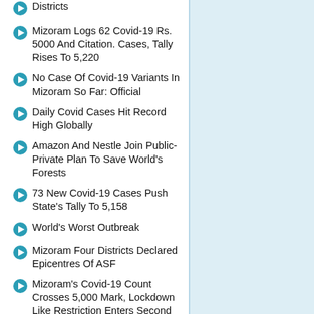Districts
Mizoram Logs 62 Covid-19 Rs. 5000 And Citation. Cases, Tally Rises To 5,220
No Case Of Covid-19 Variants In Mizoram So Far: Official
Daily Covid Cases Hit Record High Globally
Amazon And Nestle Join Public-Private Plan To Save World's Forests
73 New Covid-19 Cases Push State's Tally To 5,158
World's Worst Outbreak
Mizoram Four Districts Declared Epicentres Of ASF
Mizoram's Covid-19 Count Crosses 5,000 Mark, Lockdown Like Restriction Enters Second Day
New Stringent Guidelines To Curtail Covid-19 Spread
Mizoram Reports Highest Single...